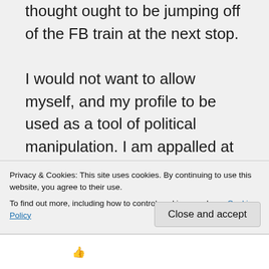thought ought to be jumping off of the FB train at the next stop.

I would not want to allow myself, and my profile to be used as a tool of political manipulation. I am appalled at what has happened here and I hope this is a wake up call for the masses. I don't have high hopes for the
Privacy & Cookies: This site uses cookies. By continuing to use this website, you agree to their use.
To find out more, including how to control cookies, see here: Cookie Policy
Close and accept